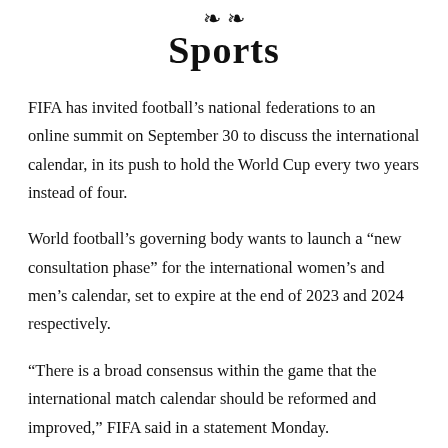Sports
FIFA has invited football's national federations to an online summit on September 30 to discuss the international calendar, in its push to hold the World Cup every two years instead of four.
World football's governing body wants to launch a “new consultation phase” for the international women’s and men’s calendar, set to expire at the end of 2023 and 2024 respectively.
“There is a broad consensus within the game that the international match calendar should be reformed and improved,” FIFA said in a statement Monday.
“Following its invitation to stakeholders, including all…